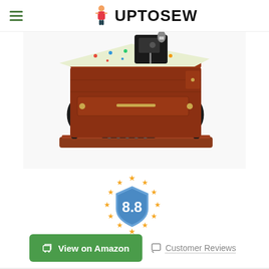UPTOSEW
[Figure (photo): A miniature antique-style sewing machine music box with reddish-brown wood cabinet, gold hardware, black metal treadle legs, and a patterned fabric on top.]
[Figure (infographic): Rating badge showing 8.8 score — blue shield with '8.8' inside, surrounded by a ring of golden stars.]
View on Amazon
Customer Reviews